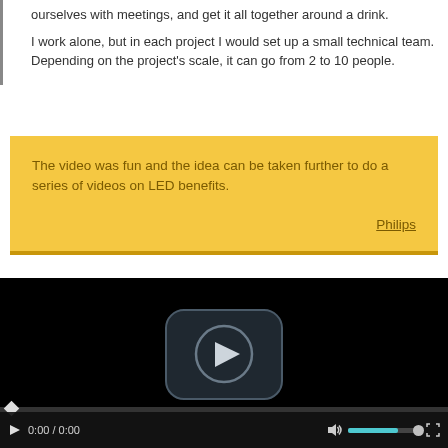ourselves with meetings, and get it all together around a drink.

I work alone, but in each project I would set up a small technical team. Depending on the project's scale, it can go from 2 to 10 people.
The video was fun and the idea can be taken further to do a series of videos on LED benefits.

Philips
[Figure (screenshot): Embedded video player with black background, a rounded-rectangle play button icon in the center, a scrub bar at the bottom, and a controls bar showing play button, 0:00 / 0:00 time, volume icon, a teal progress bar with thumb, and fullscreen icon.]